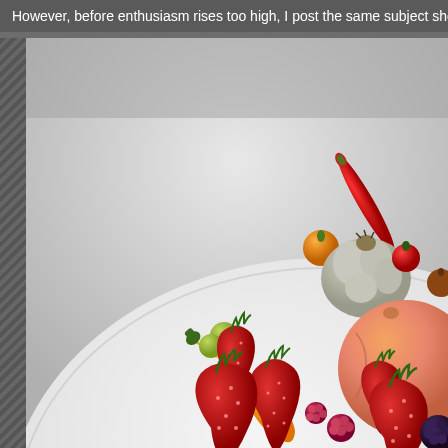However, before enthusiasm rises too high, I post the same subject shot
[Figure (photo): A white plate with various fruits and vegetables arranged on it: multiple strawberries, a peach, a yellow/orange chili pepper, garlic bulb, cherry tomatoes (orange and red), a red chili pepper, raspberries, a blackberry, and green grapes. The background is a light gray/white studio setting.]